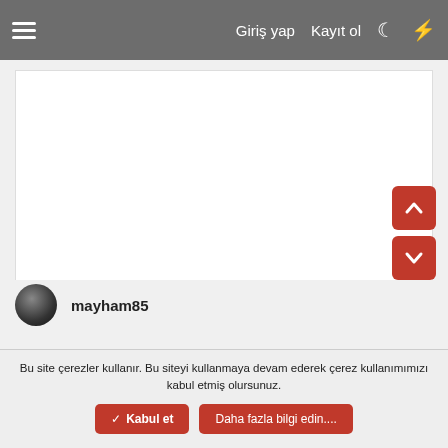≡  Giriş yap  Kayıt ol  ☾  ⚡
[Figure (screenshot): White empty content area / ad placeholder]
mayham85
Bu site çerezler kullanır. Bu siteyi kullanmaya devam ederek çerez kullanımımızı kabul etmiş olursunuz.
✓ Kabul et   Daha fazla bilgi edin....